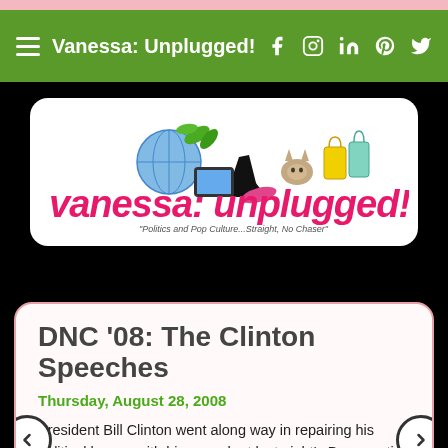Vanessa: Unplugged!
[Figure (logo): Vanessa: Unplugged! blog logo with globe, high heels, cat, shopping bags and pink text reading 'vanessa: unplugged!' with tagline 'Politics and Pop Culture...Straight, No Chaser']
DNC '08: The Clinton Speeches
Thursday, August 28, 2008
President Bill Clinton went along way in repairing his political legacy with his speech at last night's Democratic National Convention. He made excellent points as to why we should support